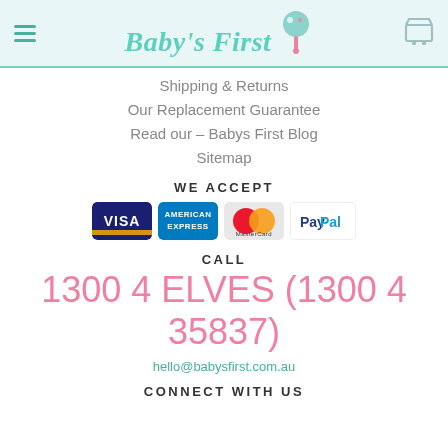Baby's First
Shipping & Returns
Our Replacement Guarantee
Read our – Babys First Blog
Sitemap
WE ACCEPT
[Figure (logo): Payment method logos: Visa, American Express, MasterCard, PayPal]
CALL
1300 4 ELVES (1300 4 35837)
hello@babysfirst.com.au
CONNECT WITH US